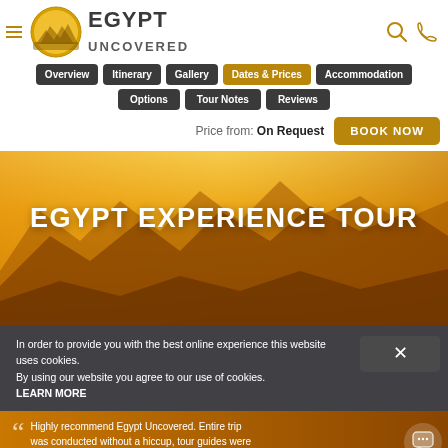Egypt Uncovered – navigation header with logo
Overview
Itinerary
Gallery
Dates & Prices
Accommodation
Options
Tour Notes
Reviews
Price from: On Request
EGYPT EXPERIENCE TOUR
In order to provide you with the best online experience this website uses cookies. By using our website you agree to our use of cookies. LEARN MORE
Highly recommend Egypt Uncovered. Entire trip was conducted without a hiccup, tour guides were